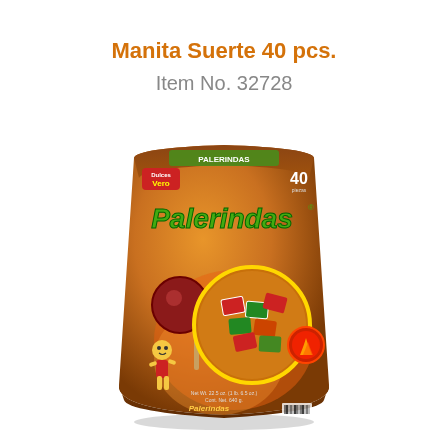Manita Suerte 40 pcs.
Item No. 32728
[Figure (photo): A brown bag of Vero Palerindas candy, containing 40 pieces of tamarind lollipops. The bag features the Palerindas logo in green letters, a circular window showing the wrapped candies inside, the Vero mascot character, and a round lollipop displayed prominently. The bag is brown/orange in color.]